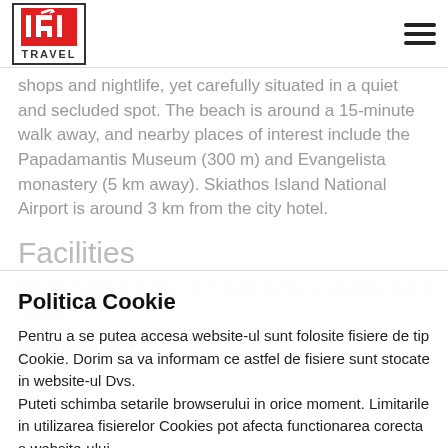IRI TRAVEL
shops and nightlife, yet carefully situated in a quiet and secluded spot. The beach is around a 15-minute walk away, and nearby places of interest include the Papadamantis Museum (300 m) and Evangelista monastery (5 km away). Skiathos Island National Airport is around 3 km from the city hotel.
Facilities
Guests have a choice of 2 apartments, 2 studios and 4 double
vezi mai multe
Politica Cookie
Pentru a se putea accesa website-ul sunt folosite fisiere de tip Cookie. Dorim sa va informam ce astfel de fisiere sunt stocate in website-ul Dvs.
Puteti schimba setarile browserului in orice moment. Limitarile in utilizarea fisierelor Cookies pot afecta functionarea corecta a website-ului.
Sunt de acord
Nu sunt de acord